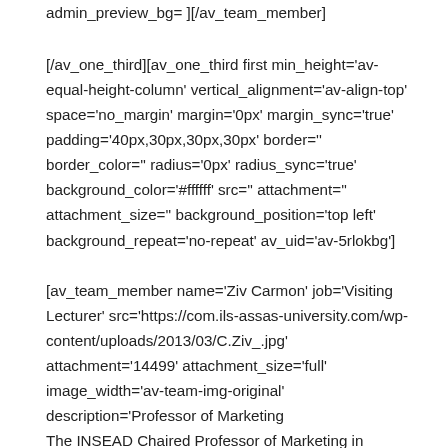admin_preview_bg= ][/av_team_member]
[/av_one_third][av_one_third first min_height='av-equal-height-column' vertical_alignment='av-align-top' space='no_margin' margin='0px' margin_sync='true' padding='40px,30px,30px,30px' border='' border_color='' radius='0px' radius_sync='true' background_color='#ffffff' src='' attachment='' attachment_size='' background_position='top left' background_repeat='no-repeat' av_uid='av-5rlokbg']
[av_team_member name='Ziv Carmon' job='Visiting Lecturer' src='https://com.ils-assas-university.com/wp-content/uploads/2013/03/C.Ziv_.jpg' attachment='14499' attachment_size='full' image_width='av-team-img-original' description='Professor of Marketing
The INSEAD Chaired Professor of Marketing in Memory of Erin Anderson